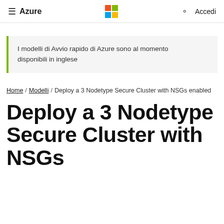≡ Azure  [Microsoft Logo]  🔍 Accedi
I modelli di Avvio rapido di Azure sono al momento disponibili in inglese
Home / Modelli / Deploy a 3 Nodetype Secure Cluster with NSGs enabled
Deploy a 3 Nodetype Secure Cluster with NSGs